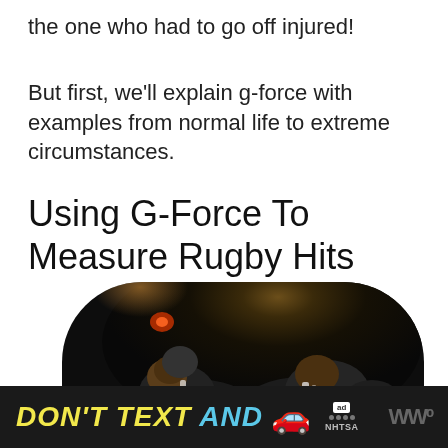the one who had to go off injured!
But first, we'll explain g-force with examples from normal life to extreme circumstances.
Using G-Force To Measure Rugby Hits
[Figure (photo): Rugby players in a scrum or tackle, dark nighttime setting with dim lighting highlighting players in dark jerseys]
[Figure (infographic): Ad banner: DON'T TEXT AND [car emoji] with ad badge, NHTSA logo, and WW logo on black background]